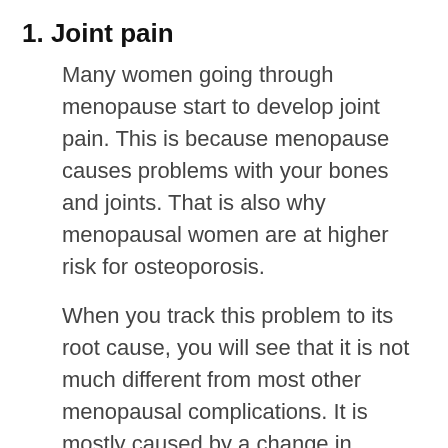1. Joint pain
Many women going through menopause start to develop joint pain. This is because menopause causes problems with your bones and joints. That is also why menopausal women are at higher risk for osteoporosis.
When you track this problem to its root cause, you will see that it is not much different from most other menopausal complications. It is mostly caused by a change in hormones, more specifically by a decrease in the hormones called